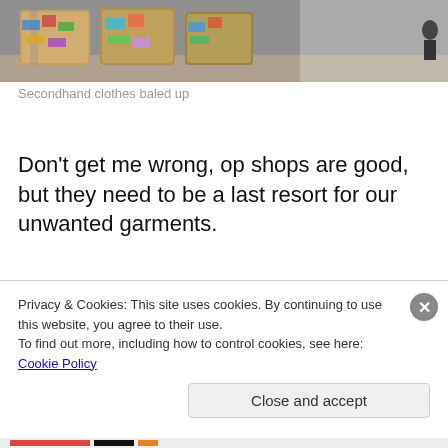[Figure (photo): Photo of secondhand clothes baled up in a warehouse, showing colorful compressed bales stacked together on a concrete floor.]
Secondhand clothes baled up
Don't get me wrong, op shops are good, but they need to be a last resort for our unwanted garments.
So how did the clothes swap go? Well, it was a great success!
40 women and girls attended our clothes swap party. Most
Privacy & Cookies: This site uses cookies. By continuing to use this website, you agree to their use.
To find out more, including how to control cookies, see here: Cookie Policy
Close and accept